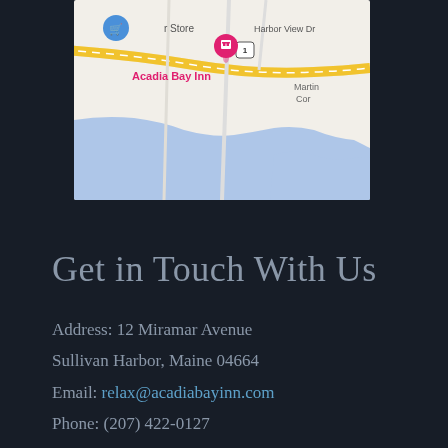[Figure (map): Google Maps screenshot showing Acadia Bay Inn location on Harbor View Dr near Sullivan Harbor, Maine. Shows a pink/red map pin for Acadia Bay Inn, a blue shopping cart pin for a store, a yellow highway road, and light blue water/bay area below.]
Get in Touch With Us
Address: 12 Miramar Avenue
Sullivan Harbor, Maine 04664
Email: relax@acadiabayinn.com
Phone: (207) 422-0127